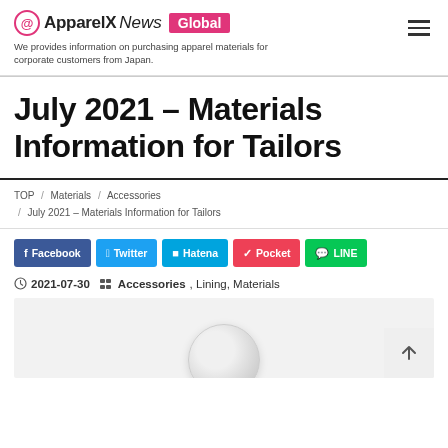ApparelX News Global — We provides information on purchasing apparel materials for corporate customers from Japan.
July 2021 – Materials Information for Tailors
TOP / Materials / Accessories / July 2021 – Materials Information for Tailors
Facebook  Twitter  Hatena  Pocket  LINE
2021-07-30   Accessories, Lining, Materials
[Figure (photo): Partial preview of a circular metal object on white background]